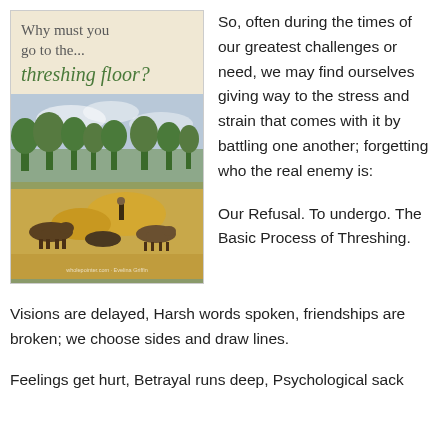[Figure (illustration): Book cover image showing 'Why must you go to the... threshing floor?' with a photo of animals and a threshing scene in a dry landscape with trees in the background.]
So, often during the times of our greatest challenges or need, we may find ourselves giving way to the stress and strain that comes with it by battling one another; forgetting who the real enemy is:

Our Refusal. To undergo. The Basic Process of Threshing.
Visions are delayed, Harsh words spoken, friendships are broken; we choose sides and draw lines.
Feelings get hurt, Betrayal runs deep, Psychological sack